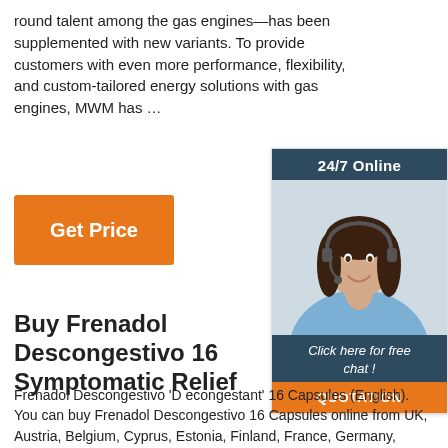round talent among the gas engines—has been supplemented with new variants. To provide customers with even more performance, flexibility, and custom-tailored energy solutions with gas engines, MWM has …
[Figure (other): Orange 'Get Price' button]
[Figure (photo): Sidebar advertisement: '24/7 Online' header, photo of woman with headset smiling, 'Click here for free chat!' text, and orange 'QUOTATION' button]
Buy Frenadol Descongestivo 16 Symptomatic Relief
Frenadol Descongestivo 'D econgestant' 16 Capsules (English). You can buy Frenadol Descongestivo 16 Capsules online from UK, Austria, Belgium, Cyprus, Estonia, Finland, France, Germany, Greece, Ireland, Italy, Latvia, Lithuania, Luxembourg, Malta, the Netherlands, Portugal, Slovakia, Slovenia and Sweden.. ACTION AND MECHANISM. Frenadol Descongestivo (decongestant) is a